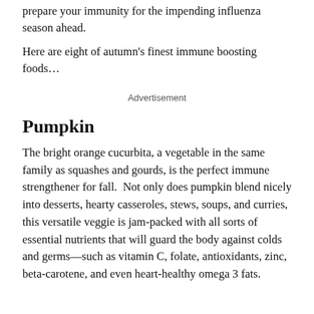prepare your immunity for the impending influenza season ahead.
Here are eight of autumn's finest immune boosting foods…
Advertisement
Pumpkin
The bright orange cucurbita, a vegetable in the same family as squashes and gourds, is the perfect immune strengthener for fall. Not only does pumpkin blend nicely into desserts, hearty casseroles, stews, soups, and curries, this versatile veggie is jam-packed with all sorts of essential nutrients that will guard the body against colds and germs—such as vitamin C, folate, antioxidants, zinc, beta-carotene, and even heart-healthy omega 3 fats.